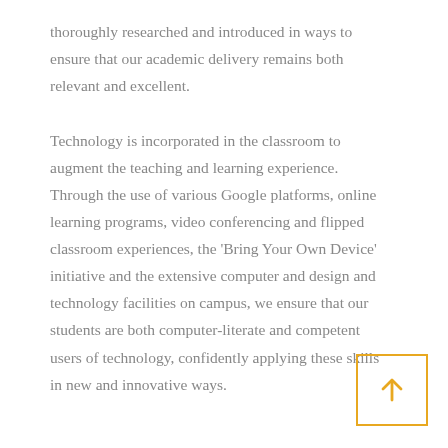thoroughly researched and introduced in ways to ensure that our academic delivery remains both relevant and excellent.

Technology is incorporated in the classroom to augment the teaching and learning experience. Through the use of various Google platforms, online learning programs, video conferencing and flipped classroom experiences, the 'Bring Your Own Device' initiative and the extensive computer and design and technology facilities on campus, we ensure that our students are both computer-literate and competent users of technology, confidently applying these skills in new and innovative ways.
[Figure (other): Yellow-bordered square button with an upward-pointing arrow icon]